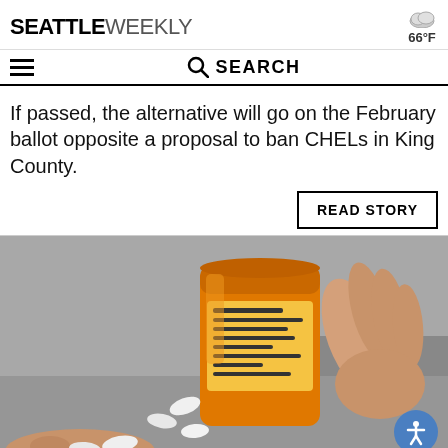SEATTLE WEEKLY | 66°F
SEARCH
If passed, the alternative will go on the February ballot opposite a proposal to ban CHELs in King County.
READ STORY
[Figure (photo): A hand pouring white pills from an orange prescription medication bottle.]